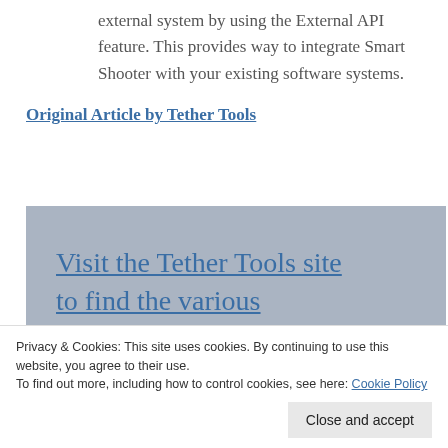external system by using the External API feature. This provides way to integrate Smart Shooter with your existing software systems.
Original Article by Tether Tools
[Figure (other): Blue-grey box with large linked text: 'Visit the Tether Tools site to find the various']
Privacy & Cookies: This site uses cookies. By continuing to use this website, you agree to their use.
To find out more, including how to control cookies, see here: Cookie Policy
Close and accept